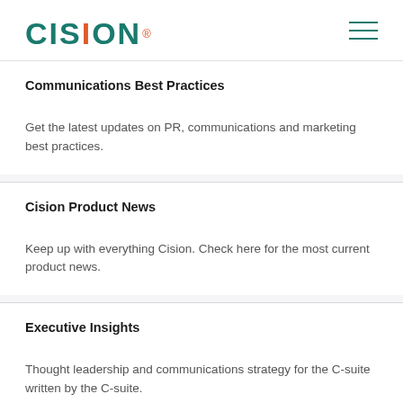CISION
Communications Best Practices
Get the latest updates on PR, communications and marketing best practices.
Cision Product News
Keep up with everything Cision. Check here for the most current product news.
Executive Insights
Thought leadership and communications strategy for the C-suite written by the C-suite.
Media Blog
A blog for and about the media featuring trends, tips, tools, media moves and more.